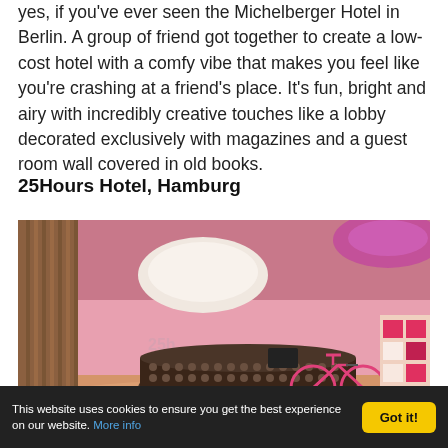yes, if you've ever seen the Michelberger Hotel in Berlin. A group of friend got together to create a low-cost hotel with a comfy vibe that makes you feel like you're crashing at a friend's place. It's fun, bright and airy with incredibly creative touches like a lobby decorated exclusively with magazines and a guest room wall covered in old books.
25Hours Hotel, Hamburg
[Figure (photo): Interior of the 25Hours Hotel Hamburg lobby showing a curved reception desk studded with decorative elements, pink/magenta accent lighting on the ceiling with a large circular light fixture, pink walls, a pink bicycle parked near the desk, and retail display shelving on the right side.]
This website uses cookies to ensure you get the best experience on our website. More info